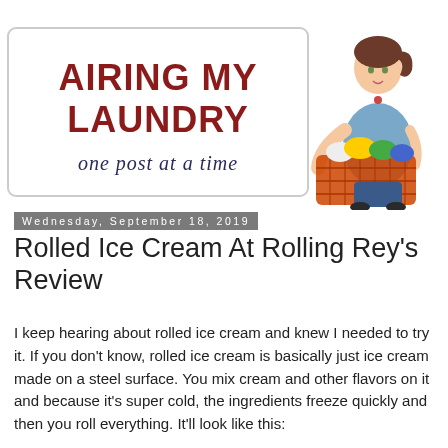[Figure (illustration): Blog header logo: 'AIRING MY LAUNDRY one post at a time' with cartoon woman holding laundry basket]
Wednesday, September 18, 2019
Rolled Ice Cream At Rolling Rey's Review
I keep hearing about rolled ice cream and knew I needed to try it. If you don't know, rolled ice cream is basically just ice cream made on a steel surface. You mix cream and other flavors on it and because it's super cold, the ingredients freeze quickly and then you roll everything. It'll look like this: